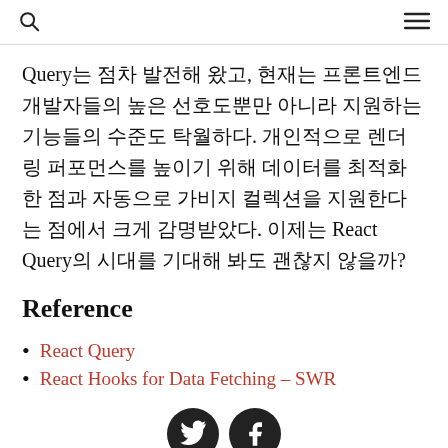[search icon] [menu icon]
Query는 점차 발전해 왔고, 현재는 프론트엔드 개발자들의 높은 선호도뿐만 아니라 지원하는 기능들의 수준도 탁월하다. 개인적으로 렌더링 퍼포먼스를 높이기 위해 데이터를 최적화한 점과 자동으로 가비지 컬렉션을 지원한다는 점에서 크게 감명받았다. 이제는 React Query의 시대를 기대해 봐도 괜찮지 않을까?
Reference
React Query
React Hooks for Data Fetching – SWR
[Figure (illustration): Twitter and Facebook social share buttons (circular dark buttons with bird and f icons)]